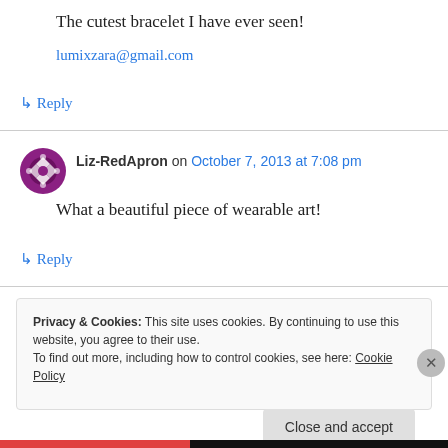The cutest bracelet I have ever seen!
lumixzara@gmail.com
↳ Reply
Liz-RedApron on October 7, 2013 at 7:08 pm
What a beautiful piece of wearable art!
↳ Reply
Privacy & Cookies: This site uses cookies. By continuing to use this website, you agree to their use. To find out more, including how to control cookies, see here: Cookie Policy
Close and accept